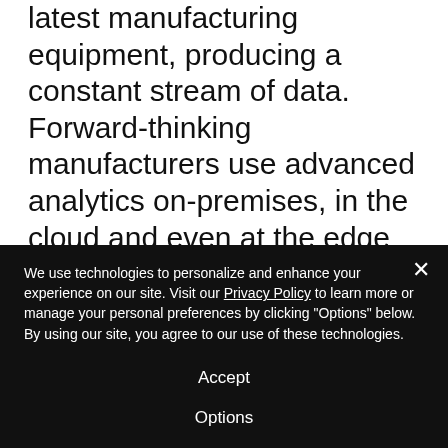latest manufacturing equipment, producing a constant stream of data. Forward-thinking manufacturers use advanced analytics on-premises, in the cloud and even at the edge to optimize their operations and reduce costs.
As a result, a technology such as 5G that speeds up data transmission and
We use technologies to personalize and enhance your experience on our site. Visit our Privacy Policy to learn more or manage your personal preferences by clicking "Options" below. By using our site, you agree to our use of these technologies.
Accept
Options